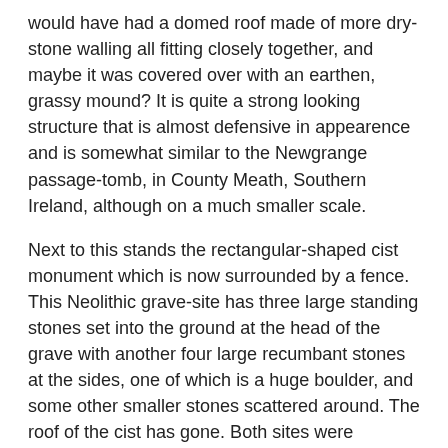would have had a domed roof made of more dry-stone walling all fitting closely together, and maybe it was covered over with an earthen, grassy mound? It is quite a strong looking structure that is almost defensive in appearence and is somewhat similar to the Newgrange passage-tomb, in County Meath, Southern Ireland, although on a much smaller scale.
Next to this stands the rectangular-shaped cist monument which is now surrounded by a fence. This Neolithic grave-site has three large standing stones set into the ground at the head of the grave with another four large recumbant stones at the sides, one of which is a huge boulder, and some other smaller stones scattered around. The roof of the cist has gone. Both sites were discovered in 1910 and excavated in 1913 when upto 100 skeletons were dug up along with many other antiquities such as grave-goods.
Source:-